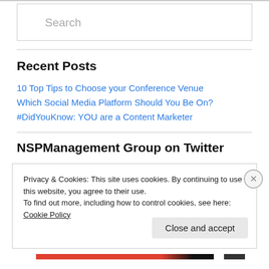Search
Recent Posts
10 Top Tips to Choose your Conference Venue
Which Social Media Platform Should You Be On?
#DidYouKnow: YOU are a Content Marketer
NSPManagement Group on Twitter
Privacy & Cookies: This site uses cookies. By continuing to use this website, you agree to their use.
To find out more, including how to control cookies, see here: Cookie Policy
Close and accept